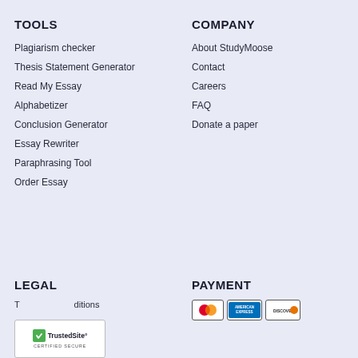TOOLS
Plagiarism checker
Thesis Statement Generator
Read My Essay
Alphabetizer
Conclusion Generator
Essay Rewriter
Paraphrasing Tool
Order Essay
COMPANY
About StudyMoose
Contact
Careers
FAQ
Donate a paper
LEGAL
Terms and Conditions
PAYMENT
[Figure (logo): Payment card logos: Mastercard, American Express, Discover]
[Figure (logo): TrustedSite Certified Secure badge]